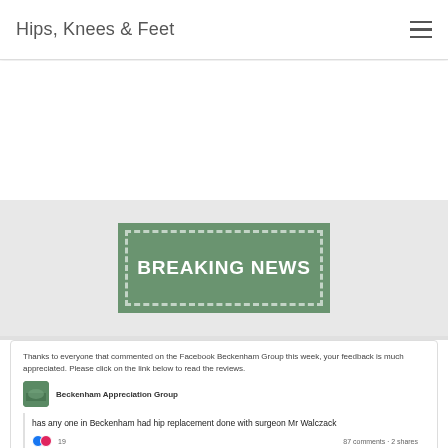Hips, Knees & Feet
[Figure (other): Breaking News banner with green dashed border box on gray background]
Thanks to everyone that commented on the Facebook Beckenham Group this week, your feedback is much appreciated. Please click on the link below to read the reviews.
Beckenham Appreciation Group
has any one in Beckenham had hip replacement done with surgeon Mr Walczack